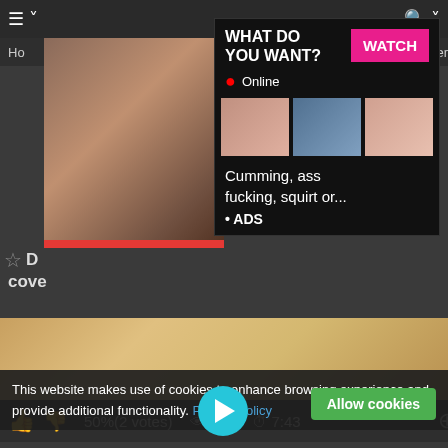[Figure (screenshot): Adult video website screenshot showing a video thumbnail, an advertisement overlay with text 'WHAT DO YOU WANT?' and a WATCH button, video stats showing 50%(2 votes), 588 views, 7:43 duration, and a cookie consent bar at the bottom reading 'This website makes use of cookies to enhance browsing experience and provide additional functionality. Privacy policy' with an 'Allow cookies' button.]